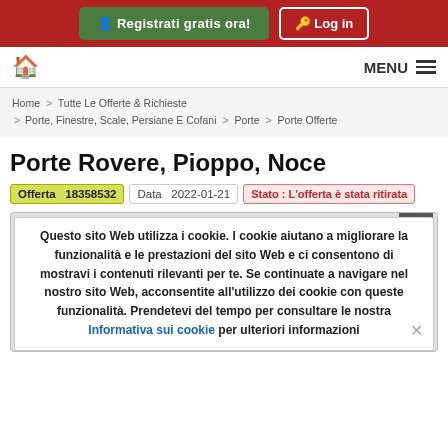Registrati gratis ora! | Log in
Home | MENU
Home > Tutte Le Offerte & Richieste > Porte, Finestre, Scale, Persiane E Cofani > Porte > Porte Offerte
Porte Rovere, Pioppo, Noce
Offerta  18358532   Data  2022-01-21   Stato : L'offerta è stata ritirata
Questo sito Web utilizza i cookie. I cookie aiutano a migliorare la funzionalità e le prestazioni del sito Web e ci consentono di mostravi i contenuti rilevanti per te. Se continuate a navigare nel nostro sito Web, acconsentite all'utilizzo dei cookie con queste funzionalità. Prendetevi del tempo per consultare le nostra Informativa sui cookie per ulteriori informazioni